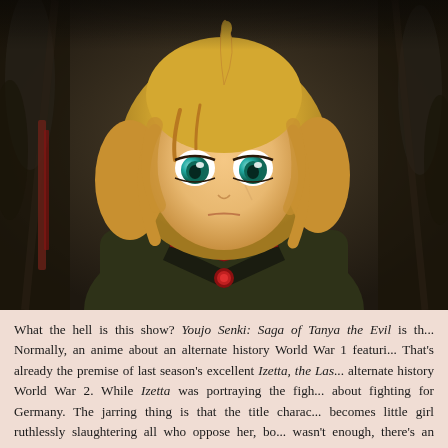[Figure (illustration): Anime screenshot from Youjo Senki: Saga of Tanya the Evil. A young blonde girl with teal/blue eyes wearing a dark olive/green military uniform with red accents and medals, looking seriously at the viewer. The background is dark, muted olive and brown tones.]
What the hell is this show? Youjo Senki: Saga of Tanya the Evil is th... Normally, an anime about an alternate history World War 1 feturi... That's already the premise of last season's excellent Izetta, the Las... alternate history World War 2. While Izetta was portraying the figh... about fighting for Germany. The jarring thing is that the title charac... becomes little girl ruthlessly slaughtering all who oppose her, bo... wasn't enough, there's an added layer that Tanya is a Japanese...